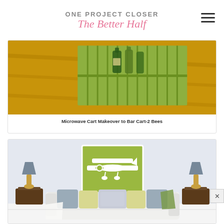ONE PROJECT CLOSER — The Better Half
[Figure (photo): Photo of a green bar cart with bottles on it, shown on a yellow/orange wooden deck surface]
Microwave Cart Makeover to Bar Cart-2 Bees
[Figure (photo): Photo of a living room with a white sofa, grey throw pillows, yellow lamps on side tables, and a green artwork of a biplane hanging on the wall]